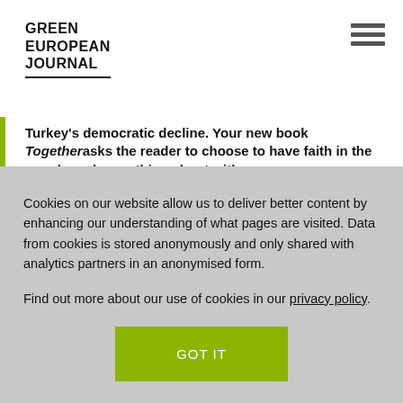GREEN EUROPEAN JOURNAL
Turkey's democratic decline. Your new book Togetherasks the reader to choose to have faith in the people and something about with
Cookies on our website allow us to deliver better content by enhancing our understanding of what pages are visited. Data from cookies is stored anonymously and only shared with analytics partners in an anonymised form.

Find out more about our use of cookies in our privacy policy.
GOT IT